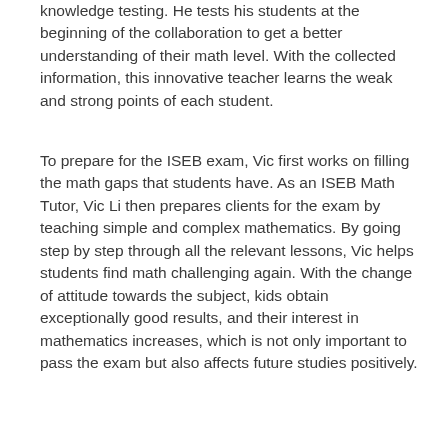knowledge testing. He tests his students at the beginning of the collaboration to get a better understanding of their math level. With the collected information, this innovative teacher learns the weak and strong points of each student.
To prepare for the ISEB exam, Vic first works on filling the math gaps that students have. As an ISEB Math Tutor, Vic Li then prepares clients for the exam by teaching simple and complex mathematics. By going step by step through all the relevant lessons, Vic helps students find math challenging again. With the change of attitude towards the subject, kids obtain exceptionally good results, and their interest in mathematics increases, which is not only important to pass the exam but also affects future studies positively.